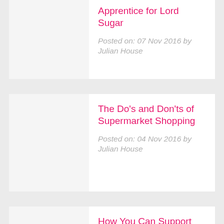Apprentice for Lord Sugar
Posted on: 07 Nov 2016 by Julian House
The Do’s and Don’ts of Supermarket Shopping
Posted on: 04 Nov 2016 by Julian House
How You Can Support Our Chosen Charities for November
Posted on: 03 Nov 2016 by Anna Scott